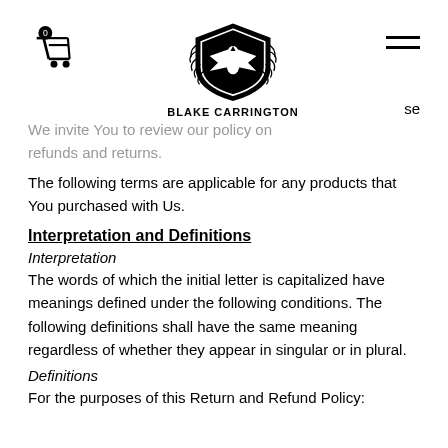BLAKE CARRINGTON
We invite You to review our policy on refunds and returns.
The following terms are applicable for any products that You purchased with Us.
Interpretation and Definitions
Interpretation
The words of which the initial letter is capitalized have meanings defined under the following conditions. The following definitions shall have the same meaning regardless of whether they appear in singular or in plural.
Definitions
For the purposes of this Return and Refund Policy: